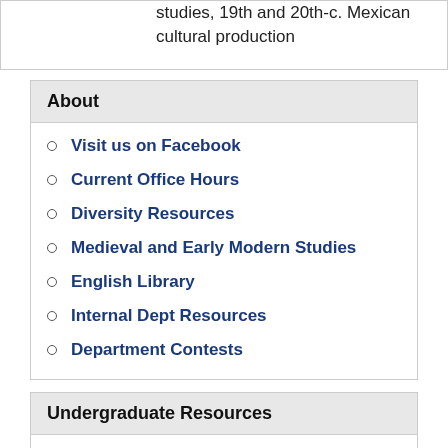studies, 19th and 20th-c. Mexican cultural production
About
Visit us on Facebook
Current Office Hours
Diversity Resources
Medieval and Early Modern Studies
English Library
Internal Dept Resources
Department Contests
Undergraduate Resources
Orientation Page for New Students